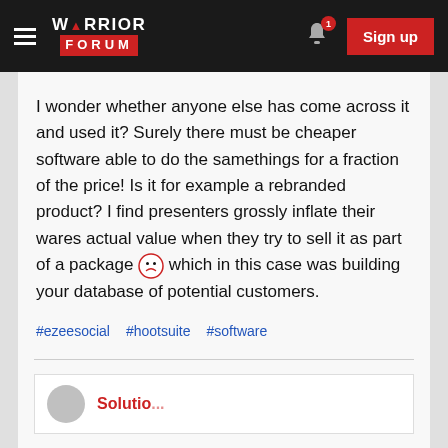Warrior Forum — Sign up
I wonder whether anyone else has come across it and used it? Surely there must be cheaper software able to do the samethings for a fraction of the price! Is it for example a rebranded product? I find presenters grossly inflate their wares actual value when they try to sell it as part of a package 😞 which in this case was building your database of potential customers.
#ezeesocial
#hootsuite
#software